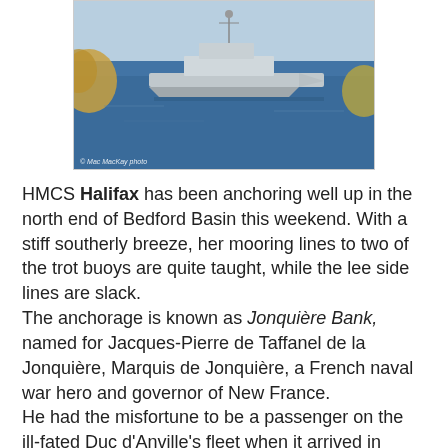[Figure (photo): Photo of HMCS Halifax naval frigate anchored in Bedford Basin on blue water, with foliage in foreground. Photo credit: Mac MacKay photo.]
HMCS Halifax has been anchoring well up in the north end of Bedford Basin this weekend. With a stiff southerly breeze, her mooring lines to two of the trot buoys are quite taught, while the lee side lines are slack.
The anchorage is known as Jonquière Bank, named for Jacques-Pierre de Taffanel de la Jonquière, Marquis de Jonquière, a French naval war hero and governor of New France.
He had the misfortune to be a passenger on the ill-fated Duc d'Anville's fleet when it arrived in Halifax (then Beau Bassin) in 1746. The battered and disease-ridden flotilla - sent from France to re-capture Acadia, soon lost its commander to a stroke, and its second in command after a suicide attempt, not to mention many of its troops to disease. De la Jonquière, although a passenger, and at the time governor...